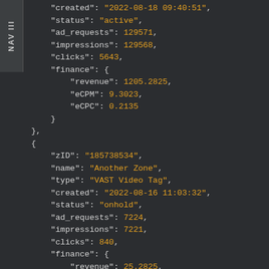[Figure (screenshot): Dark-themed code editor or API response viewer showing JSON data with fields: created, status (active), ad_requests, impressions, clicks, finance object with revenue/eCPM/eCPC, then a second object with zID, name, type, created, status (onhold), ad_requests, impressions, clicks, finance object with revenue/eCPM/eCPC. A NAV III tab is visible on the left side.]